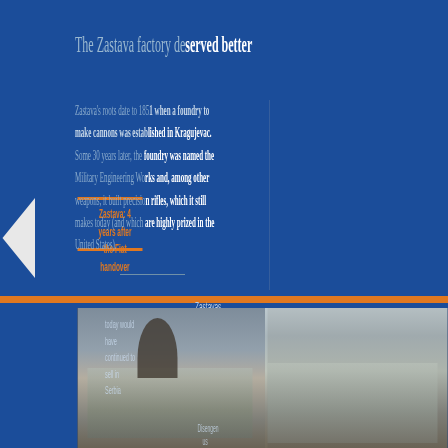The Zastava factory deserved better
Zastava's roots date to 1851 when a foundry to make cannons was established in Kragujevac. Some 30 years later, the foundry was named the Military Engineering Works and, among other weapons, it built precision rifles, which it still makes today (and which are highly prized in the United States).
Zastava: 4 years after the Fiat handover
Zastavas
[Figure (photo): Photograph of the Zastava factory building in Kragujevac, showing a large early 20th century neoclassical building with a domed roof feature. Two overlapping views of the same building are shown side by side.]
today would have continued to sell in Serbia
Zastava's roots 1851. After pre production of C trucks, the con building (Fiat)
Disengage us